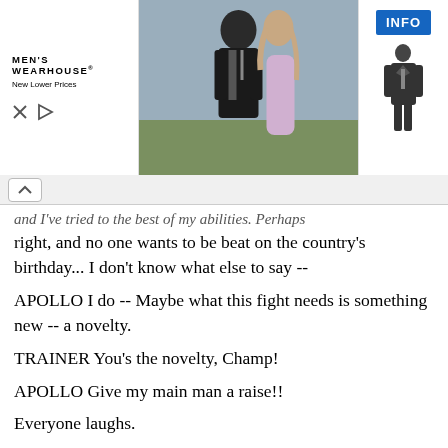[Figure (screenshot): Men's Wearhouse advertisement banner showing a couple in formal wear, a man in a suit silhouette, and an INFO button]
and I've tried to the best of my abilities. Perhaps right, and no one wants to be beat on the country's birthday... I don't know what else to say --
APOLLO I do -- Maybe what this fight needs is something new -- a novelty.
TRAINER You's the novelty, Champ!
APOLLO Give my main man a raise!!
Everyone laughs.
APOLLO (continuing) Now here's what's goin' down. Listen, 'cause I'm gonna say this but one time. On January first, the first day of the Bicentennial I'm gonna fight me a local poor underdog, dig? A snow-white underdog. An' I'm gonna put his face on this poster with me, hear? An' I'll tell you why, 'cause I'm sentimental -- An' all the people in the country all sentimental, man, an' they'd like nothin' better than me, Apollo Creed, to let some unknown get a shot at